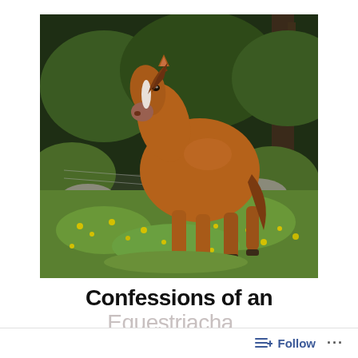[Figure (photo): A chestnut horse with a white blaze stands in a green meadow filled with small yellow wildflowers. The horse faces the camera. In the background there are green trees, rocks, and a wire fence. The setting appears to be a rural pasture on a summer day.]
Confessions of an
Equestriacha...
Follow ...